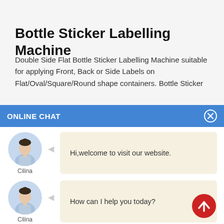Bottle Sticker Labelling Machine
Double Side Flat Bottle Sticker Labelling Machine suitable for applying Front, Back or Side Labels on Flat/Oval/Square/Round shape containers. Bottle Sticker
ONLINE CHAT
Hi,welcome to visit our website.
Cilina
How can I help you today?
Cilina